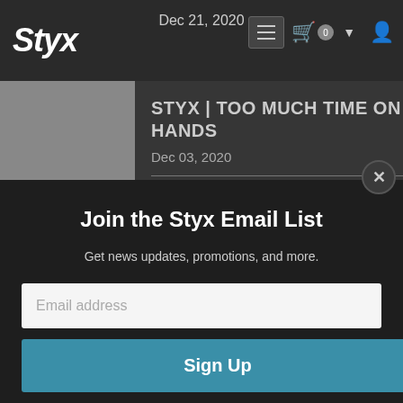[Figure (screenshot): Styx band website screenshot with navigation bar showing logo, date Dec 21 2020, hamburger menu, cart icon, and user icon]
Dec 21, 2020
STYX | TOO MUCH TIME ON MY HANDS
Dec 03, 2020
[Figure (illustration): Equinox album art teaser with letters E Q U I N O X on teal background]
Join the Styx Email List
Get news updates, promotions, and more.
Email address
Sign Up